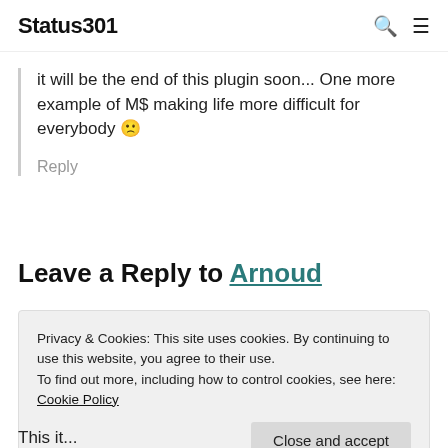Status301
it will be the end of this plugin soon... One more example of M$ making life more difficult for everybody 🙁
Reply
Leave a Reply to Arnoud
Privacy & Cookies: This site uses cookies. By continuing to use this website, you agree to their use.
To find out more, including how to control cookies, see here: Cookie Policy
This it...